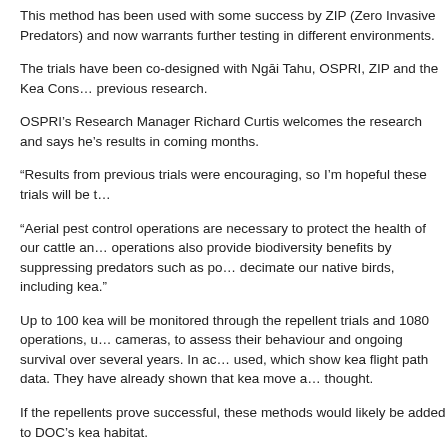This method has been used with some success by ZIP (Zero Invasive Predators) and now warrants further testing in different environments.
The trials have been co-designed with Ngāi Tahu, OSPRI, ZIP and the Kea Conservation Trust, building on previous research.
OSPRI's Research Manager Richard Curtis welcomes the research and says he's looking forward to seeing results in coming months.
"Results from previous trials were encouraging, so I'm hopeful these trials will be t…
"Aerial pest control operations are necessary to protect the health of our cattle and deer industry. These operations also provide biodiversity benefits by suppressing predators such as possums and stoats, which decimate our native birds, including kea."
Up to 100 kea will be monitored through the repellent trials and 1080 operations, using transmitters and cameras, to assess their behaviour and ongoing survival over several years. In addition, GPS tags will be used, which show kea flight path data. They have already shown that kea move a lot more than previously thought.
If the repellents prove successful, these methods would likely be added to DOC's standard toolkit for managing kea habitat.
All aerial 1080 operations in areas where kea live must follow the Code of Practice for Kea, which aims to reduce the risk to kea based on the latest research, including bait type, sowing rate, operation timing and avoiding kea scrounging areas.